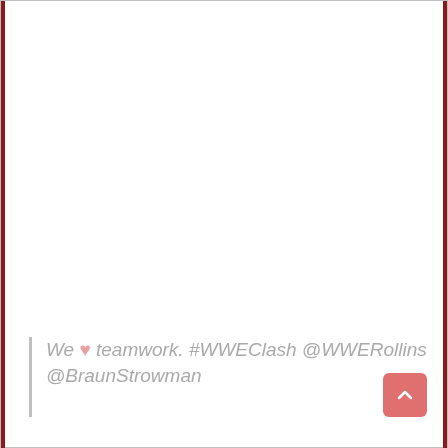We ♥ teamwork. #WWEClash @WWERollins @BraunStrowman